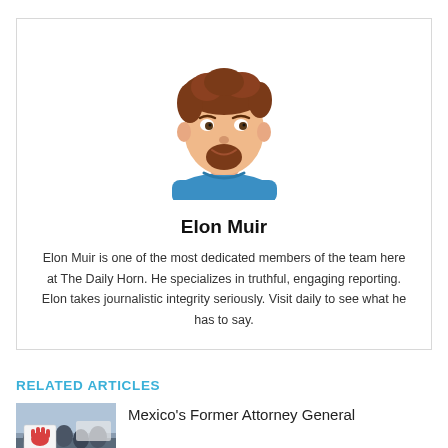[Figure (illustration): Cartoon avatar illustration of Elon Muir — a male figure with reddish-brown messy hair, goatee beard, and wearing a teal/blue shirt, shown from the shoulders up.]
Elon Muir
Elon Muir is one of the most dedicated members of the team here at The Daily Horn. He specializes in truthful, engaging reporting. Elon takes journalistic integrity seriously. Visit daily to see what he has to say.
RELATED ARTICLES
[Figure (photo): Photo of protest scene with people holding signs, including one with a red handprint and text 'Justice For'.]
Mexico's Former Attorney General